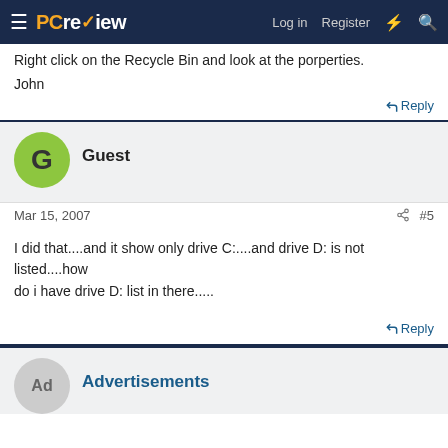PCreview — Log in | Register
Right click on the Recycle Bin and look at the porperties.
John
Reply
Guest
Mar 15, 2007   #5
I did that....and it show only drive C:....and drive D: is not listed....how
do i have drive D: list in there.....
Reply
Advertisements